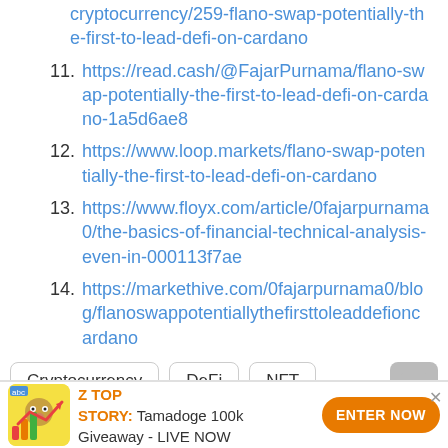cryptocurrency/259-flano-swap-potentially-the-first-to-lead-defi-on-cardano
11. https://read.cash/@FajarPurnama/flano-swap-potentially-the-first-to-lead-defi-on-cardano-1a5d6ae8
12. https://www.loop.markets/flano-swap-potentially-the-first-to-lead-defi-on-cardano
13. https://www.floyx.com/article/0fajarpurnama0/the-basics-of-financial-technical-analysis-even-in-000113f7ae
14. https://markethive.com/0fajarpurnama0/blog/flanoswappotentiallythefirsttoleaddefioncardano
Cryptocurrency  DeFi  NFT  Cardano (ADA)  Flano Swap
Z TOP STORY: Tamadoge 100k Giveaway - LIVE NOW  ENTER NOW